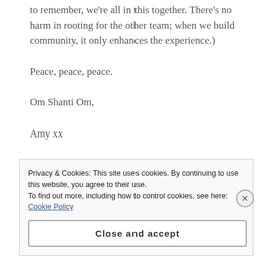to remember, we're all in this together. There's no harm in rooting for the other team; when we build community, it only enhances the experience.)
Peace, peace, peace.
Om Shanti Om,
Amy xx
———————————————
Privacy & Cookies: This site uses cookies. By continuing to use this website, you agree to their use.
To find out more, including how to control cookies, see here: Cookie Policy
Close and accept